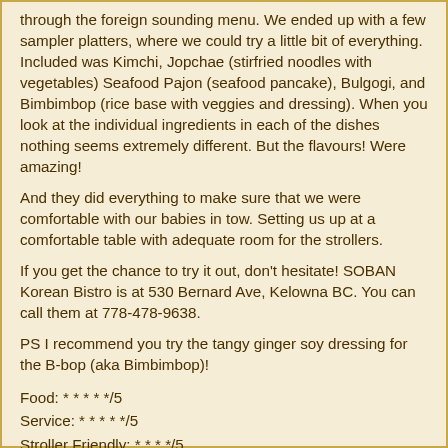through the foreign sounding menu.  We ended up with a few sampler platters, where we could try a little bit of everything.  Included was Kimchi, Jopchae (stirfried noodles with vegetables) Seafood Pajon (seafood pancake), Bulgogi, and Bimbimbop (rice base with veggies and dressing).  When you look at the individual ingredients in each of the dishes nothing seems extremely different.  But the flavours!  Were amazing!
And they did everything to make sure that we were comfortable with our babies in tow.  Setting us up at a comfortable table with adequate room for the strollers.
If you get the chance to try it out, don't hesitate!  SOBAN Korean Bistro is at 530 Bernard Ave, Kelowna BC.  You can call them at 778-478-9638.
PS I recommend you try the tangy ginger soy dressing for the B-bop (aka Bimbimbop)!
Food: * * * * */5
Service: * * * * */5
Stroller Friendly: * * * */5